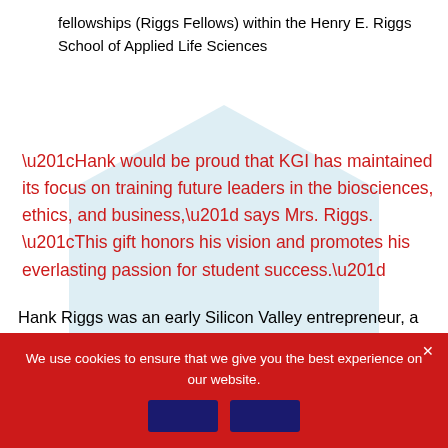fellowships (Riggs Fellows) within the Henry E. Riggs School of Applied Life Sciences
[Figure (illustration): Light blue hexagon shape used as background behind pull quote]
“Hank would be proud that KGI has maintained its focus on training future leaders in the biosciences, ethics, and business,” says Mrs. Riggs. “This gift honors his vision and promotes his everlasting passion for student success.”
Hank Riggs was an early Silicon Valley entrepreneur, a
We use cookies to ensure that we give you the best experience on our website.